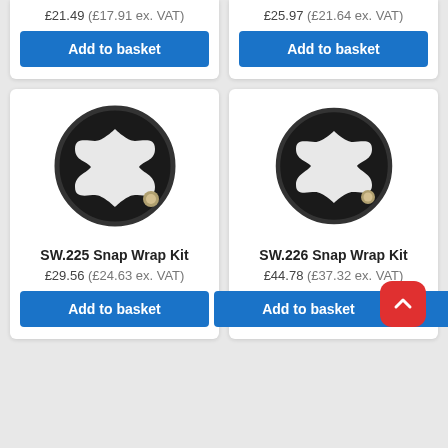£21.49 (£17.91 ex. VAT)
Add to basket
£25.97 (£21.64 ex. VAT)
Add to basket
[Figure (photo): Black circular Snap Wrap Kit component, model SW.225, viewed from front showing internal star-shaped cutout]
SW.225 Snap Wrap Kit
£29.56 (£24.63 ex. VAT)
Add to basket
[Figure (photo): Black circular Snap Wrap Kit component, model SW.226, viewed from front showing internal star-shaped cutout]
SW.226 Snap Wrap Kit
£44.78 (£37.32 ex. VAT)
Add to basket